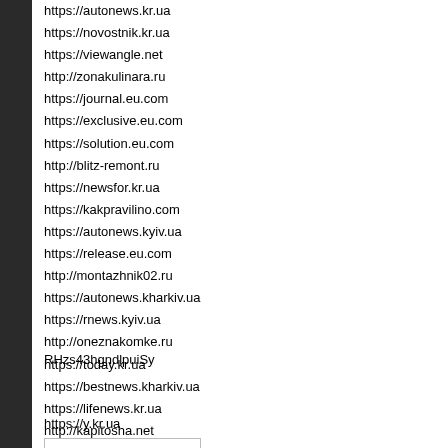https://autonews.kr.ua
https://novostnik.kr.ua
https://viewangle.net
http://zonakulinara.ru
https://journal.eu.com
https://exclusive.eu.com
https://solution.eu.com
http://blitz-remont.ru
https://newsfor.kr.ua
https://kakpravilino.com
https://autonews.kyiv.ua
https://release.eu.com
http://montazhnik02.ru
https://autonews.kharkiv.ua
https://rnews.kyiv.ua
http://oneznakomke.ru
https://today.kr.ua
https://bestnews.kharkiv.ua
https://lifenews.kr.ua
http://kapitosha.net
RHzs43hgndlpuiSy
https://y.kr.ua